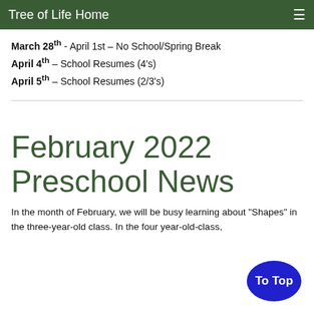Tree of Life Home
March 28th - April 1st – No School/Spring Break
April 4th – School Resumes (4's)
April 5th – School Resumes (2/3's)
February 2022 Preschool News
In the month of February, we will be busy learning about "Shapes" in the three-year-old class. In the four year-old-class,